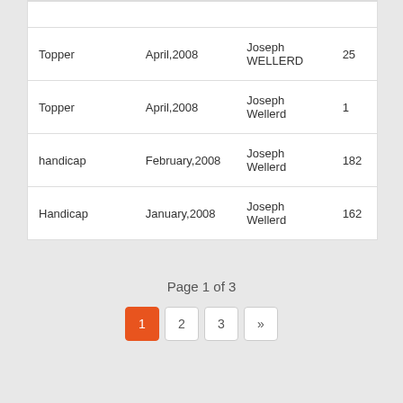| Topper | April,2008 | Joseph WELLERD | 25 |
| Topper | April,2008 | Joseph Wellerd | 1 |
| handicap | February,2008 | Joseph Wellerd | 182 |
| Handicap | January,2008 | Joseph Wellerd | 162 |
Page 1 of 3